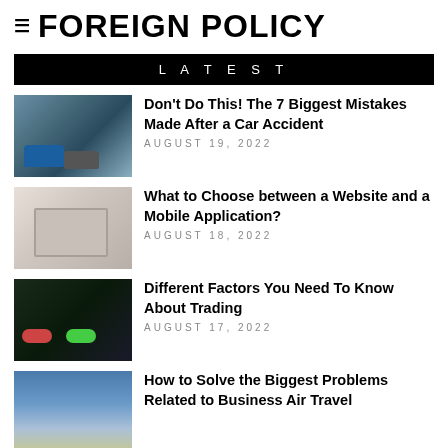≡ FOREIGN POLICY
LATEST
[Figure (photo): Two people crouching near damaged cars after a car accident]
Don't Do This! The 7 Biggest Mistakes Made After a Car Accident
AUGUST 19, 2022
[Figure (photo): Person working on a laptop at a desk]
What to Choose between a Website and a Mobile Application?
AUGUST 18, 2022
[Figure (photo): Trading chart with red SELL and green BUY buttons]
Different Factors You Need To Know About Trading
AUGUST 17, 2022
[Figure (photo): Airplane flying in sky at dusk]
How to Solve the Biggest Problems Related to Business Air Travel